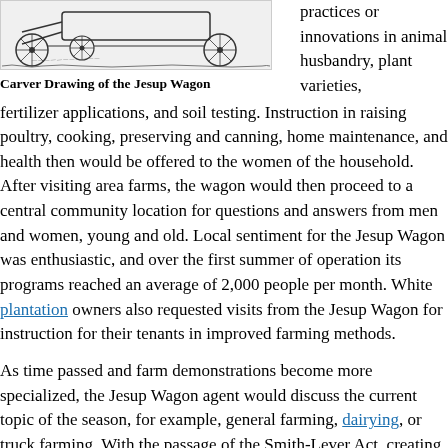[Figure (illustration): Carver Drawing of the Jesup Wagon — a line drawing showing a horse-drawn wagon with large spoked wheels]
Carver Drawing of the Jesup Wagon
practices or innovations in animal husbandry, plant varieties, fertilizer applications, and soil testing. Instruction in raising poultry, cooking, preserving and canning, home maintenance, and health then would be offered to the women of the household. After visiting area farms, the wagon would then proceed to a central community location for questions and answers from men and women, young and old. Local sentiment for the Jesup Wagon was enthusiastic, and over the first summer of operation its programs reached an average of 2,000 people per month. White plantation owners also requested visits from the Jesup Wagon for instruction for their tenants in improved farming methods.
As time passed and farm demonstrations become more specialized, the Jesup Wagon agent would discuss the current topic of the season, for example, general farming, dairying, or truck farming. With the passage of the Smith-Lever Act, creating a national extension system in 1914, increased